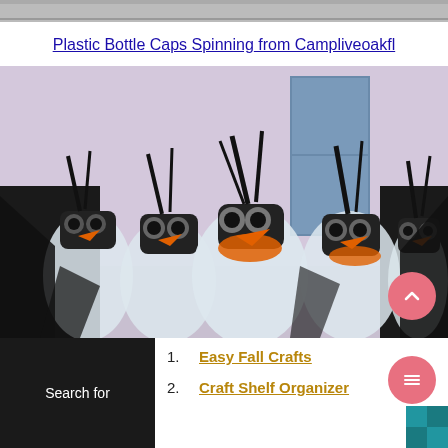[Figure (photo): Top strip of a photo partially cropped at the top of the page]
Plastic Bottle Caps Spinning from Campliveoakfl
[Figure (photo): Photo of five penguin figurines made from plastic bottles, with googly eyes, orange beaks, black feather mohawks, and black capes, displayed against a light purple background]
Search for
1. Easy Fall Crafts
2. Craft Shelf Organizer